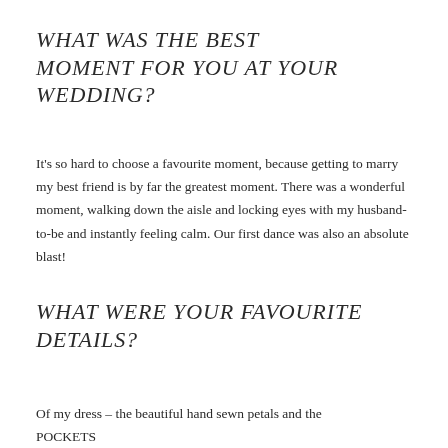WHAT WAS THE BEST MOMENT FOR YOU AT YOUR WEDDING?
It's so hard to choose a favourite moment, because getting to marry my best friend is by far the greatest moment. There was a wonderful moment, walking down the aisle and locking eyes with my husband-to-be and instantly feeling calm. Our first dance was also an absolute blast!
WHAT WERE YOUR FAVOURITE DETAILS?
Of my dress – the beautiful hand sewn petals and the POCKETS